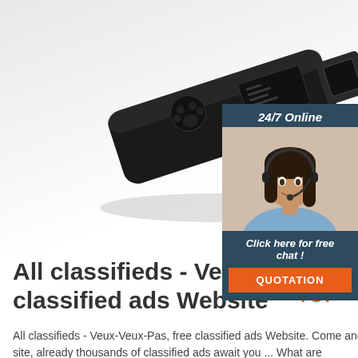[Figure (photo): Black USB flash drive / device on white/grey gradient background, shown at an angle]
[Figure (photo): Advertisement overlay panel with '24/7 Online' header, photo of smiling woman with headset, 'Click here for free chat!' text, and orange QUOTATION button]
All classifieds - Veux-Veux-Pas, free classified ads Website
All classifieds - Veux-Veux-Pas, free classified ads Website. Come and visit our site, already thousands of classified ads await you ... What are
[Figure (logo): Orange TOP badge with dot pattern above the word TOP]